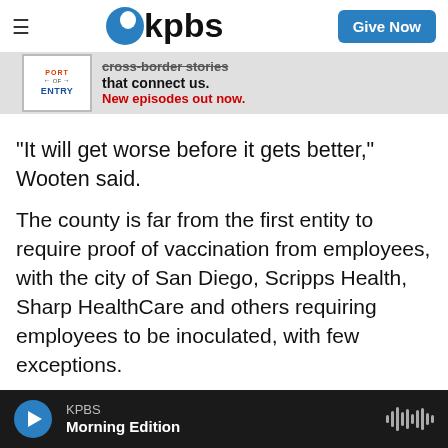kpbs | Give Now
[Figure (screenshot): Ad banner for Port of Entry podcast: cross-border stories that connect us. New episodes out now.]
"It will get worse before it gets better," Wooten said.
The county is far from the first entity to require proof of vaccination from employees, with the city of San Diego, Scripps Health, Sharp HealthCare and others requiring employees to be inoculated, with few exceptions.
"Scripps is complying with the state mandate that those who have not been vaccinated will need to be fully vaccinated by Sept. 30 or qualify for a
KPBS Morning Edition